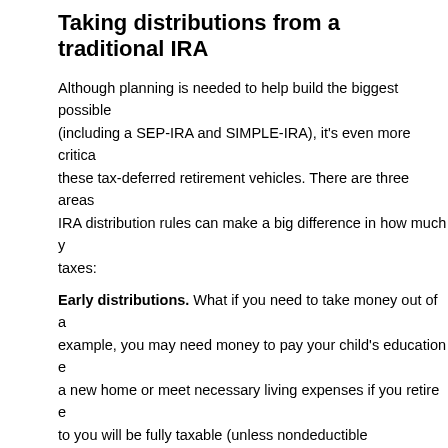Taking distributions from a traditional IRA
Although planning is needed to help build the biggest possible (including a SEP-IRA and SIMPLE-IRA), it's even more critica these tax-deferred retirement vehicles. There are three areas IRA distribution rules can make a big difference in how much y taxes:
Early distributions. What if you need to take money out of a example, you may need money to pay your child's education e a new home or meet necessary living expenses if you retire e to you will be fully taxable (unless nondeductible contributions each payout will be tax-free). In addition, distributions before a 10% penalty tax. However, there are several ways that the pe tax) can be avoided, including a method that's tailor-made for to draw cash from their traditional IRAs other i
Naming beneficiaries. The decision concerning who you wai your traditional IRA is critically important. This decision affects generally withdraw from the IRA when you reach age 72, who at your death, and how that IRA balance can be paid out. Wha individual(s) you've named as IRA beneficiaries is vital. This h planning objectives will be achieved in light of changes in the in your personal, financial and family situation.